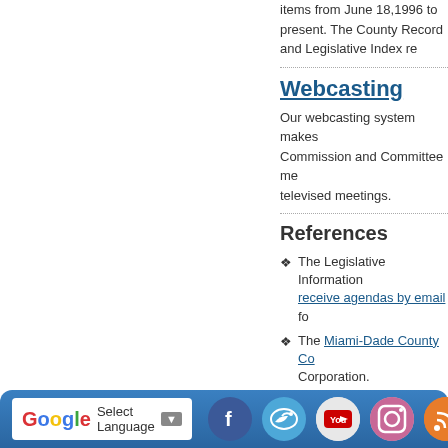items from June 18,1996 to present. The County Record and Legislative Index re...
Webcasting
Our webcasting system makes ... Commission and Committee me... televised meetings.
References
The Legislative Information ... receive agendas by email fo...
The Miami-Dade County Co... Corporation.
Established operating meth... responsibilities can be foun... Implementing Orders estab... policies that fall under their...
Back to Top
Page Last Edited: Wed May 26, 20...
Select Language | G (Google Translate) | Facebook | Twitter | YouTube | Instagram | RSS